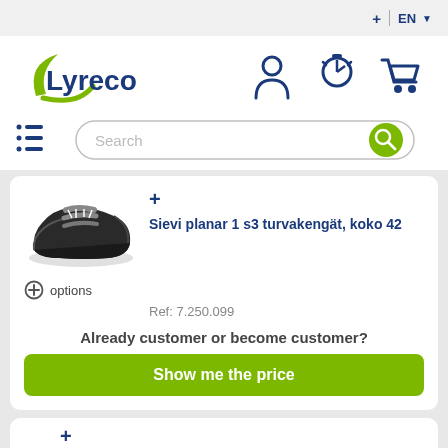[Figure (screenshot): Finnish flag icon (+) and EN language selector with dropdown arrow in top-right corner of Lyreco website header]
[Figure (logo): Lyreco logo - dark blue text with green swoosh arc]
[Figure (screenshot): Navigation icons: user/person icon, stopwatch/quick order icon, shopping cart icon]
[Figure (screenshot): Hamburger menu icon with dots on left side and search bar with green search button]
[Figure (photo): Black Sievi planar 1 s3 safety shoe/boot product image]
Sievi planar 1 s3 turvakengät, koko 42
+ options
Ref: 7.250.099
Already customer or become customer?
Show me the price